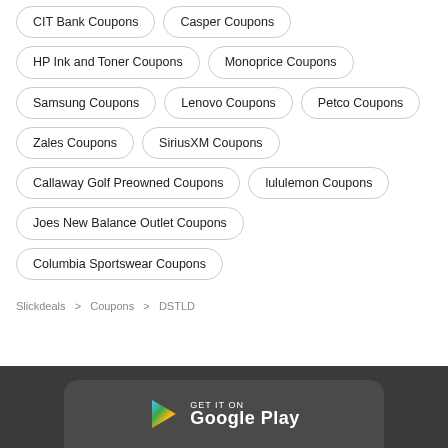CIT Bank Coupons
Casper Coupons
HP Ink and Toner Coupons
Monoprice Coupons
Samsung Coupons
Lenovo Coupons
Petco Coupons
Zales Coupons
SiriusXM Coupons
Callaway Golf Preowned Coupons
lululemon Coupons
Joes New Balance Outlet Coupons
Columbia Sportswear Coupons
Slickdeals > Coupons > DSTLD
[Figure (logo): Google Play badge — GET IT ON Google Play]